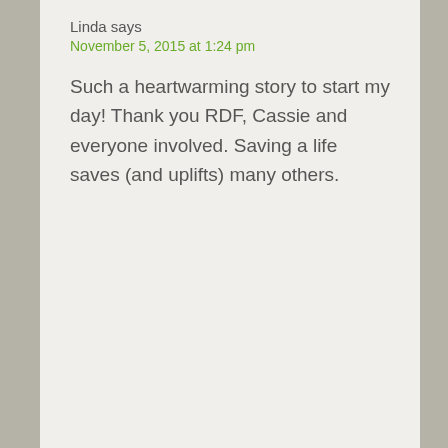Linda says
November 5, 2015 at 1:24 pm
Such a heartwarming story to start my day! Thank you RDF, Cassie and everyone involved. Saving a life saves (and uplifts) many others.
Colleen & Andre says
November 9, 2015 at 12:28 pm
I love to read these wonderful updates. I remember her. What a wonderful life. Thank you Rolling Dog & Cassie for giving her that